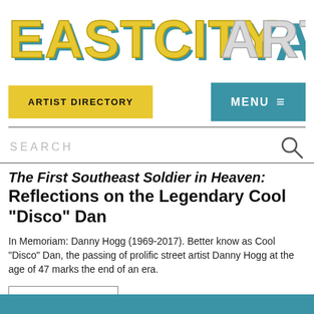[Figure (logo): EastCityArt logo in bold stylized letters, yellow and gray with teal shadow effect]
ARTIST DIRECTORY   MENU
SEARCH
The First Southeast Soldier in Heaven: Reflections on the Legendary Cool “Disco” Dan
In Memoriam: Danny Hogg (1969-2017). Better know as Cool “Disco” Dan, the passing of prolific street artist Danny Hogg at the age of 47 marks the end of an era.
Read More
[Figure (photo): Blue/teal image strip at the bottom of the page]